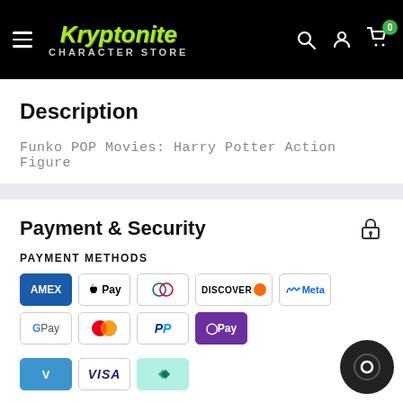[Figure (logo): Kryptonite Character Store logo on black header with hamburger menu, search icon, user icon, and cart icon with badge showing 0]
Description
Funko POP Movies: Harry Potter Action Figure
Payment & Security
PAYMENT METHODS
[Figure (infographic): Payment method logos: Amex, Apple Pay, Diners Club, Discover, Meta Pay, Google Pay, Mastercard, PayPal, OPay, Venmo, Visa, Afterpay]
Your payment information is processed securely. We do not store credit card details nor have access to your credit card